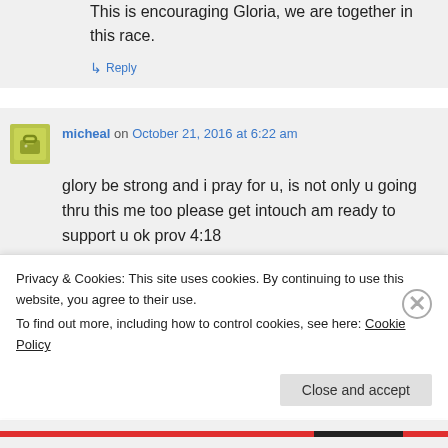This is encouraging Gloria, we are together in this race.
↳ Reply
micheal on October 21, 2016 at 6:22 am
glory be strong and i pray for u, is not only u going thru this me too please get intouch am ready to support u ok prov 4:18
↳ Reply
Privacy & Cookies: This site uses cookies. By continuing to use this website, you agree to their use. To find out more, including how to control cookies, see here: Cookie Policy
Close and accept